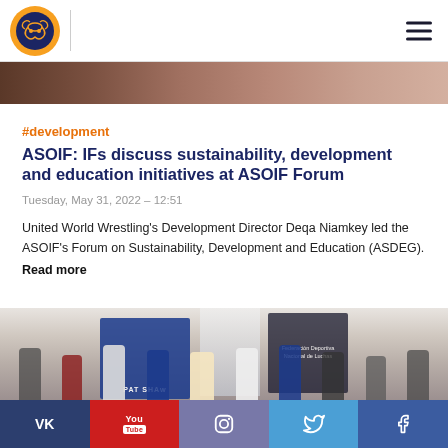United World Wrestling logo and navigation menu
[Figure (photo): Cropped top portion of a photo showing people in an indoor setting]
#development
ASOIF: IFs discuss sustainability, development and education initiatives at ASOIF Forum
Tuesday, May 31, 2022 – 12:51
United World Wrestling's Development Director Deqa Niamkey led the ASOIF's Forum on Sustainability, Development and Education (ASDEG).
Read more
[Figure (photo): Group photo of wrestlers and officials indoors with flags and a banner reading 'Federación Deportiva Nacional de Luchas' and a PAT SHAW banner visible]
VK | YouTube | Instagram | Twitter | Facebook social media links